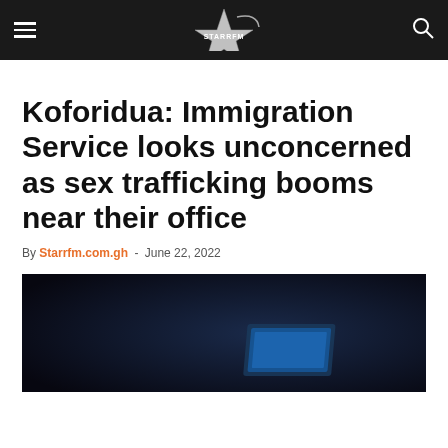Starrfm.com.gh navigation bar
Koforidua: Immigration Service looks unconcerned as sex trafficking booms near their office
By Starrfm.com.gh - June 22, 2022
[Figure (photo): Dark photograph, partially visible, showing what appears to be a screen or device in a dimly lit environment]